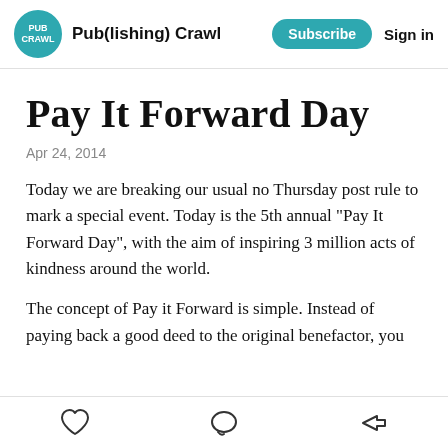Pub(lishing) Crawl | Subscribe  Sign in
Pay It Forward Day
Apr 24, 2014
Today we are breaking our usual no Thursday post rule to mark a special event. Today is the 5th annual "Pay It Forward Day", with the aim of inspiring 3 million acts of kindness around the world.
The concept of Pay it Forward is simple. Instead of paying back a good deed to the original benefactor, you
Like  Comment  Share